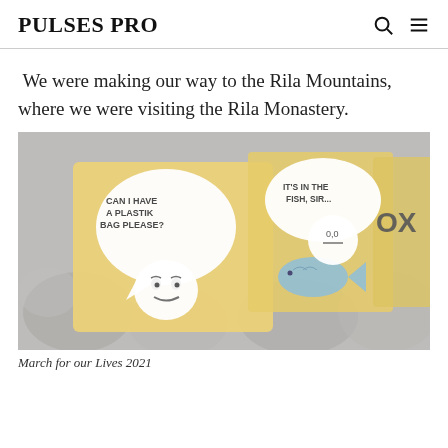PULSES PRO
We were making our way to the Rila Mountains, where we were visiting the Rila Monastery.
[Figure (photo): Protest photo showing people holding signs including 'CAN I HAVE A PLASTIK BAG PLEASE?' and 'IT'S IN THE FISH, SIR...' with cartoon illustrations, partially blurred crowd in background.]
March for our Lives 2021